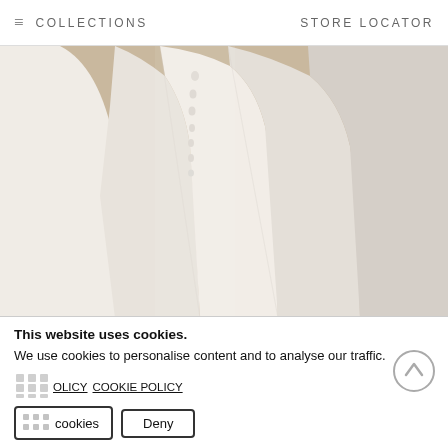≡  COLLECTIONS    STORE LOCATOR
[Figure (photo): Close-up photo of a white/ivory wedding dress with a sleek, minimalist silhouette against a beige background. The dress shows a back view with small pearl/button detail running down the center.]
Stretch Crepe - Stretch crepe back satin offers a little extra room by having a slight stretch in the fabric making it a comfortable choice. Bold and elegant, Style T881 is a minimalist crepe mermaid wedding dress that features an eye-catching illusion cutout back. The fabric has a shiny touch to it which gives a contemporary feel. The simple details paired with the sleek and smooth fit
This website uses cookies.
We use cookies to personalise content and to analyse our traffic.
PRIVACY POLICY  COOKIE POLICY
Allow cookies   Deny